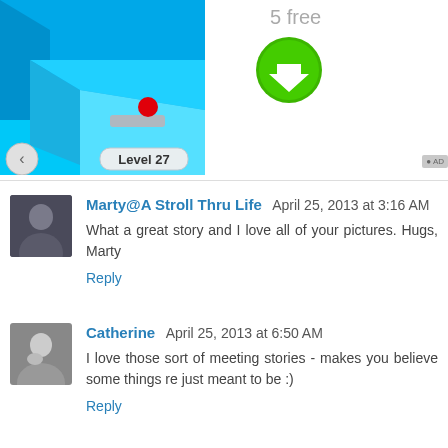[Figure (screenshot): Mobile game screenshot showing a 3D blue platform/maze game with a red ball on a gray paddle, and 'Level 27' label at the bottom with a back arrow button]
5 free
[Figure (other): Green circular download button with white downward arrow]
Marty@A Stroll Thru Life  April 25, 2013 at 3:16 AM
What a great story and I love all of your pictures. Hugs, Marty
Reply
Catherine  April 25, 2013 at 6:50 AM
I love those sort of meeting stories - makes you believe some things re just meant to be :)
Reply